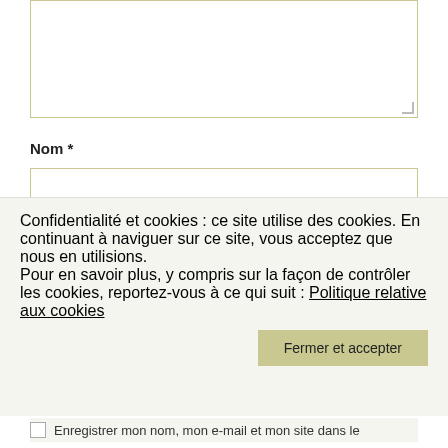[Figure (screenshot): A textarea input box with a resize handle in the bottom-right corner, partially visible at the top of the page.]
Nom *
[Figure (screenshot): A text input field for the Nom (Name) field.]
E-mail *
[Figure (screenshot): A text input field for the E-mail field, partially visible.]
Confidentialité et cookies : ce site utilise des cookies. En continuant à naviguer sur ce site, vous acceptez que nous en utilisions. Pour en savoir plus, y compris sur la façon de contrôler les cookies, reportez-vous à ce qui suit : Politique relative aux cookies
Fermer et accepter
Enregistrer mon nom, mon e-mail et mon site dans le